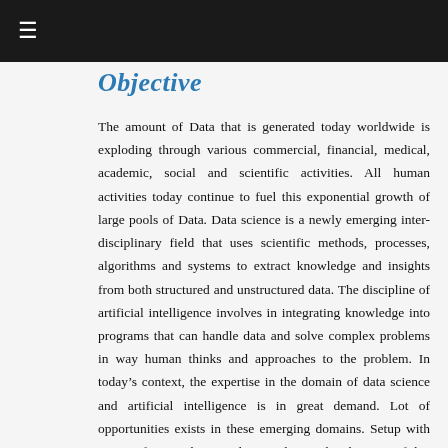☰
Objective
The amount of Data that is generated today worldwide is exploding through various commercial, financial, medical, academic, social and scientific activities. All human activities today continue to fuel this exponential growth of large pools of Data. Data science is a newly emerging inter-disciplinary field that uses scientific methods, processes, algorithms and systems to extract knowledge and insights from both structured and unstructured data. The discipline of artificial intelligence involves in integrating knowledge into programs that can handle data and solve complex problems in way human thinks and approaches to the problem. In today's context, the expertise in the domain of data science and artificial intelligence is in great demand. Lot of opportunities exists in these emerging domains. Setup with support from Mehta Family Foundation, the objective of this Mehta Family School of Data Science and Artificial Intelligence is to become a vibrant center of activities